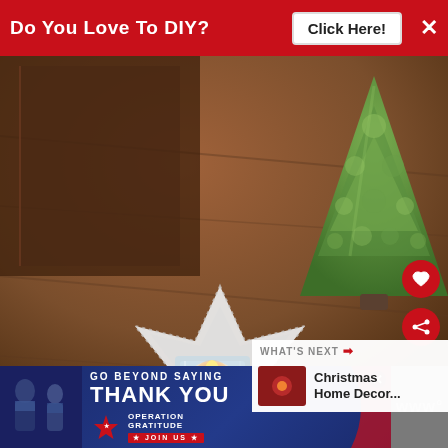[Figure (infographic): Red banner advertisement: 'Do You Love To DIY?' with 'Click Here!' button and X close button]
[Figure (photo): Photograph of a Christmas table decoration: a green ceramic tree figurine, a glass tealight candle holder on a white lace napkin, on a wooden table surface]
WHAT'S NEXT → Christmas Home Decor...
[Figure (infographic): Bottom advertisement banner: 'GO BEYOND SAYING THANK YOU' Operation Gratitude JOIN US, with close button and partial icons on right]